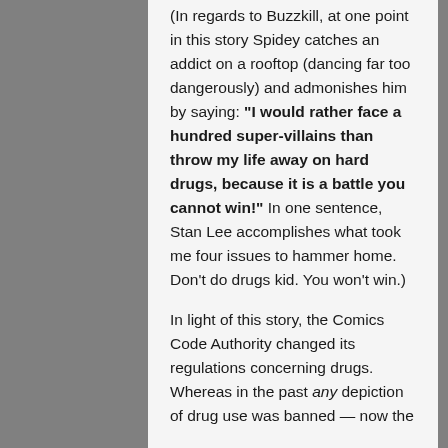(In regards to Buzzkill, at one point in this story Spidey catches an addict on a rooftop (dancing far too dangerously) and admonishes him by saying: "I would rather face a hundred super-villains than throw my life away on hard drugs, because it is a battle you cannot win!" In one sentence, Stan Lee accomplishes what took me four issues to hammer home. Don't do drugs kid. You won't win.)
In light of this story, the Comics Code Authority changed its regulations concerning drugs. Whereas in the past any depiction of drug use was banned — now the